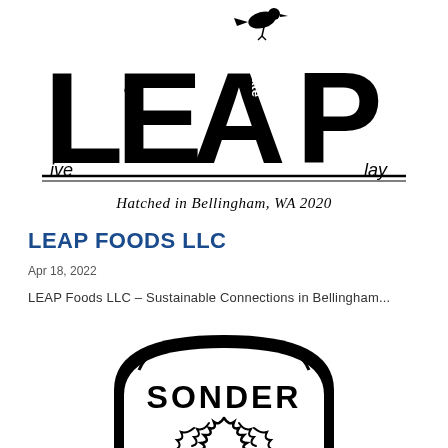[Figure (logo): LEAP logo — large letters L, E, A, P with 'live', 'eat', 'ppreciate', 'lay' as smaller text inside/near each letter; a crow/raven perched on the A; double horizontal rule underneath; text 'Hatched in Bellingham, WA 2020' in italic serif below]
LEAP FOODS LLC
Apr 18, 2022
LEAP Foods LLC – Sustainable Connections in Bellingham...
[Figure (logo): Sonder brand logo — circular/arch badge in black and white with 'SONDER' text and decorative wave/plant illustration]